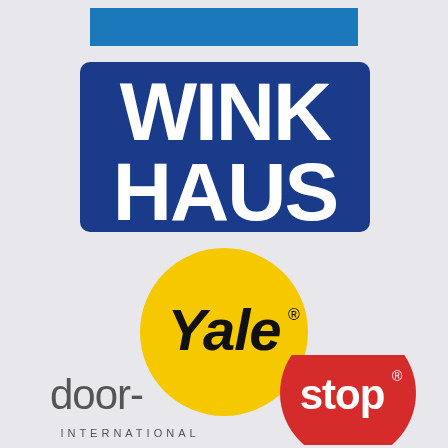[Figure (logo): Blue rectangular banner at top of page]
[Figure (logo): Winkhaus logo: white bold text WINK HAUS on dark blue background with rounded corners]
[Figure (logo): Yale logo: black bold italic text 'Yale' with registered trademark symbol on yellow circle]
[Figure (logo): door-stop International logo: grey text 'door-' followed by white 'stop' on red circle, with INTERNATIONAL below in spaced capitals]